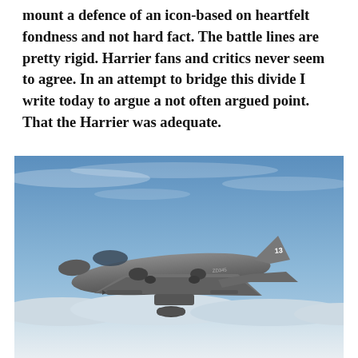mount a defence of an icon-based on heartfelt fondness and not hard fact. The battle lines are pretty rigid. Harrier fans and critics never seem to agree. In an attempt to bridge this divide I write today to argue a not often argued point. That the Harrier was adequate.
[Figure (photo): A Harrier jump jet aircraft in flight, viewed from slightly above and to the side, carrying weapons under its wings. The aircraft is grey and marked with the number 13 on its tail. It is flying above clouds against a blue sky.]